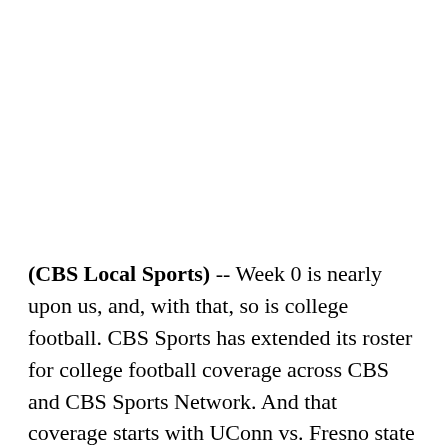(CBS Local Sports) -- Week 0 is nearly upon us, and, with that, so is college football. CBS Sports has extended its roster for college football coverage across CBS and CBS Sports Network. And that coverage starts with UConn vs. Fresno state on CBS Sports Network, one of five games this weekend.
CBS Sports' broad college football coverage extends